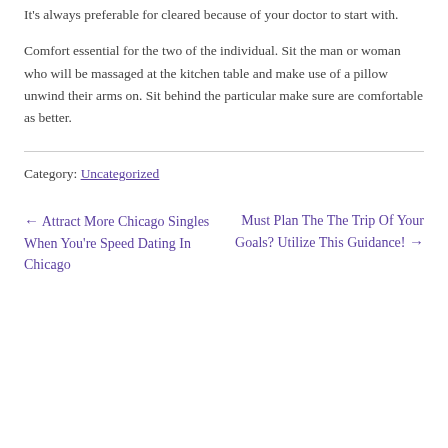It's always preferable for cleared because of your doctor to start with.
Comfort essential for the two of the individual. Sit the man or woman who will be massaged at the kitchen table and make use of a pillow unwind their arms on. Sit behind the particular make sure are comfortable as better.
Category: Uncategorized
← Attract More Chicago Singles When You're Speed Dating In Chicago
Must Plan The The Trip Of Your Goals? Utilize This Guidance! →